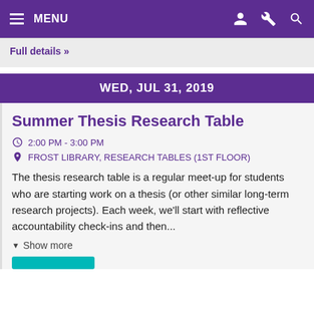MENU
Full details »
WED, JUL 31, 2019
Summer Thesis Research Table
2:00 PM - 3:00 PM
FROST LIBRARY, RESEARCH TABLES (1ST FLOOR)
The thesis research table is a regular meet-up for students who are starting work on a thesis (or other similar long-term research projects). Each week, we'll start with reflective accountability check-ins and then...
Show more